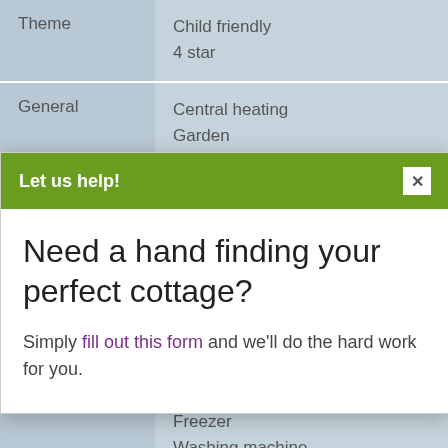|  |  |
| --- | --- |
| Theme | Child friendly
4 star |
| General | Central heating
Garden |
|  | Microwave
High chair
Freezer
Washing machine |
| Living room | DVD player |
Let us help!
Need a hand finding your perfect cottage?
Simply fill out this form and we'll do the hard work for you.